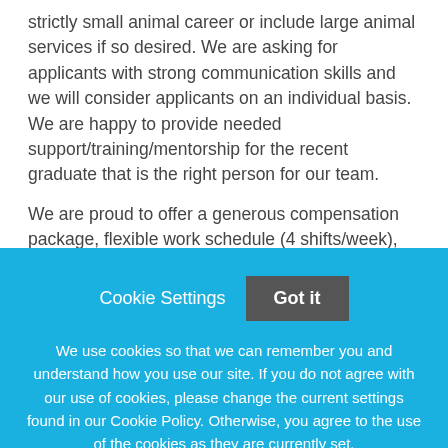strictly small animal career or include large animal services if so desired. We are asking for applicants with strong communication skills and we will consider applicants on an individual basis. We are happy to provide needed support/training/mentorship for the recent graduate that is the right person for our team.
We are proud to offer a generous compensation package, flexible work schedule (4 shifts/week), and comprehensive benefits including:
Cookie Settings   Got it
We use cookies so that we can remember you and understand how you use our site. If you do not agree with our use of cookies, please change the current settings found in our Cookie Policy. Otherwise, you agree to the use of the cookies as they are currently set.